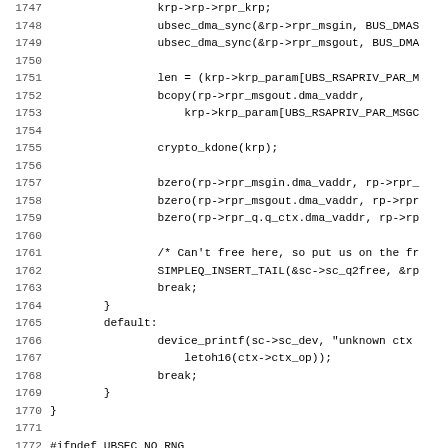[Figure (other): Source code listing in C, lines 1747-1779, showing crypto/DMA sync operations, bzero calls, SIMPLEQ_INSERT_TAIL, default case with device_printf, closing braces, #ifndef UBSEC_NO_RNG, static void ubsec_rng function definition, and struct declarations.]